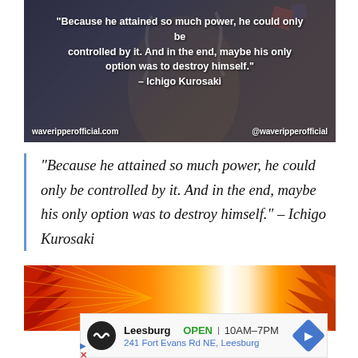[Figure (illustration): Anime-style image with dark background showing a character with chains. White bold text overlaid: quote by Ichigo Kurosaki. Bottom left: waveripperofficial.com, bottom right: @waveripperofficial]
“Because he attained so much power, he could only be controlled by it. And in the end, maybe his only option was to destroy himself.” – Ichigo Kurosaki
[Figure (illustration): Anime-style illustration with orange and red flame/hair colors, dramatic artistic rendering.]
Leesburg OPEN | 10AM–7PM  241 Fort Evans Rd NE, Leesburg